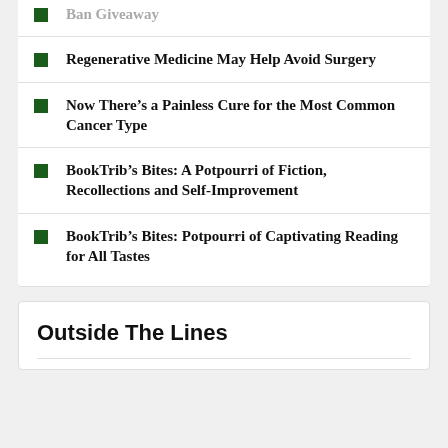Ban Giveaway
Regenerative Medicine May Help Avoid Surgery
Now There’s a Painless Cure for the Most Common Cancer Type
BookTrib’s Bites: A Potpourri of Fiction, Recollections and Self-Improvement
BookTrib’s Bites: Potpourri of Captivating Reading for All Tastes
Outside The Lines